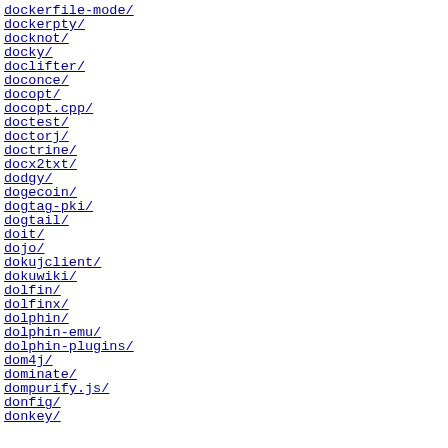dockerfile-mode/   19-Se
dockerpty/   01-Jun
docknot/   22-Jan
docky/   28-Ma
doclifter/   31-Dec
doconce/   13-Jul
docopt/   07-Nov
docopt.cpp/   18-Aug
doctest/   27-Apr
doctorj/   10-Sep
doctrine/   14-Aug
docx2txt/   07-Apr
dodgy/   01-Apr
dogecoin/   22-Nov
dogtag-pki/   28-Jul
dogtail/   11-Jan
doit/   18-Jun
dojo/   15-Aug
dokujclient/   18-Jan
dokuwiki/   16-Ma
dolfin/   28-Aug
dolfinx/   14-Jun
dolphin/   14-Jul
dolphin-emu/   04-Jan
dolphin-plugins/   19-May
dom4j/   02-Jun
dominate/   01-Aug
dompurify.js/   08-Nov
donfig/   09-Feb
donkey/   05-Jul